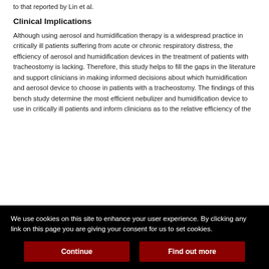to that reported by Lin et al.
Clinical Implications
Although using aerosol and humidification therapy is a widespread practice in critically ill patients suffering from acute or chronic respiratory distress, the efficiency of aerosol and humidification devices in the treatment of patients with tracheostomy is lacking. Therefore, this study helps to fill the gaps in the literature and support clinicians in making informed decisions about which humidification and aerosol device to choose in patients with a tracheostomy. The findings of this bench study determine the most efficient nebulizer and humidification device to use in critically ill patients and inform clinicians as to the relative efficiency of the
We use cookies on this site to enhance your user experience. By clicking any link on this page you are giving your consent for us to set cookies.